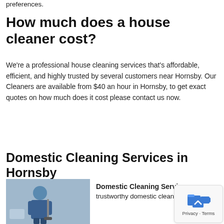preferences.
How much does a house cleaner cost?
We're a professional house cleaning services that's affordable, efficient, and highly trusted by several customers near Hornsby. Our Cleaners are available from $40 an hour in Hornsby, to get exact quotes on how much does it cost please contact us now.
Domestic Cleaning Services in Hornsby
[Figure (photo): Person in blue uniform holding cleaning equipment]
Domestic Cleaning Servic… trustworthy domestic cleaner will